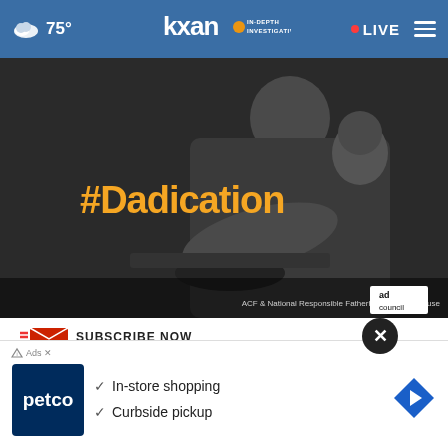75° KXAN IN-DEPTH INVESTIGATIVE • LIVE ≡
[Figure (photo): Black and white photo of a man cooking while carrying a baby on his back, with '#Dadication' in yellow text overlay. Logos for ACF, National Responsible Fatherhood Clearinghouse, and Ad Council shown at bottom.]
SUBSCRIBE NOW
KXAN Daily Forecast Newsletter
[Figure (advertisement): Petco advertisement showing logo and features: In-store shopping, Curbside pickup, with a navigation/directions arrow icon on the right.]